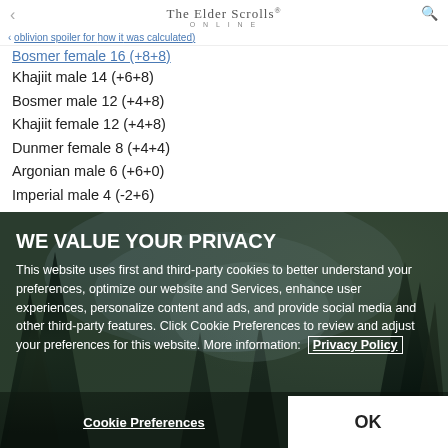The Elder Scrolls Online
← oblivion spoiler for how it was calculated)
Bosmer female 16 (+8+8)
Khajiit male 14 (+6+8)
Bosmer male 12 (+4+8)
Khajiit female 12 (+4+8)
Dunmer female 8 (+4+4)
Argonian male 6 (+6+0)
Imperial male 4 (-2+6)
Dunmer male 4 (0+4)
[Figure (photo): Dark forest/nature background image from The Elder Scrolls Online game]
WE VALUE YOUR PRIVACY
This website uses first and third-party cookies to better understand your preferences, optimize our website and Services, enhance user experiences, personalize content and ads, and provide social media and other third-party features. Click Cookie Preferences to review and adjust your preferences for this website. More information: Privacy Policy
Cookie Preferences | OK